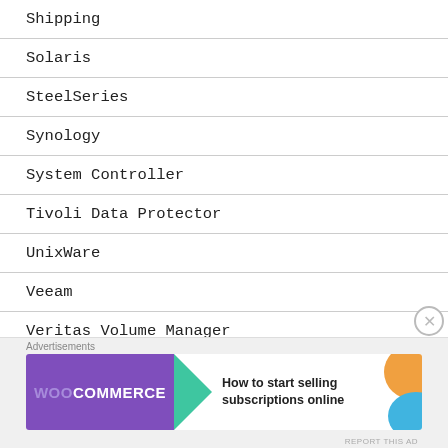Shipping
Solaris
SteelSeries
Synology
System Controller
Tivoli Data Protector
UnixWare
Veeam
Veritas Volume Manager
[Figure (other): WooCommerce advertisement banner: purple WooCommerce logo with green arrow, text 'How to start selling subscriptions online', orange and blue decorative blobs]
Advertisements